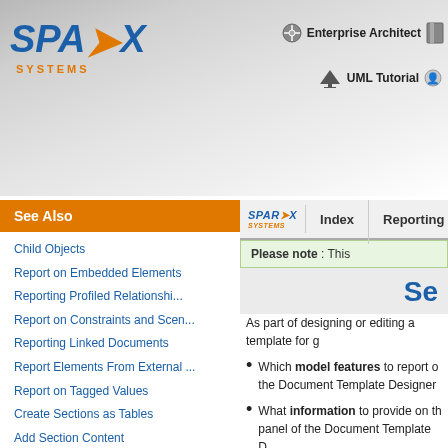Sparx Systems — Enterprise Architect | UML Tutorial
See Also
Child Objects
Report on Embedded Elements
Reporting Profiled Relationshi...
Report on Constraints and Scen...
Reporting Linked Documents
Report Elements From External ...
Report on Tagged Values
Create Sections as Tables
Add Section Content
Please note : This
Se
As part of designing or editing a template for g
Which model features to report on the Document Template Designer
What information to provide on the panel of the Document Template D
The information you define here determines th
Access   Tools | Document Template Des... Tools | Document Template D...